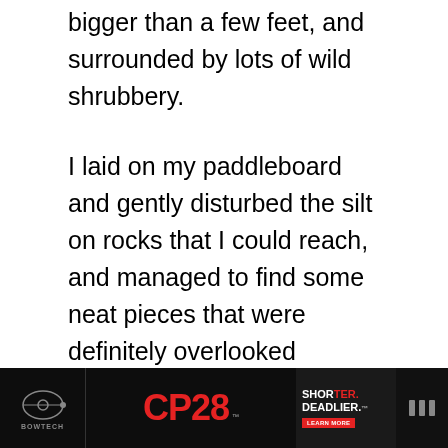bigger than a few feet, and surrounded by lots of wild shrubbery.
I laid on my paddleboard and gently disturbed the silt on rocks that I could reach, and managed to find some neat pieces that were definitely overlooked because of the gunk.
[Figure (screenshot): Advertisement banner for 'cookies for kids cancer' - green background with text 'turn your COOKIES into a CURE LEARN MORE']
[Figure (screenshot): Advertisement for Bowtech CP28 bow - 'SHORTER. DEADLIER.' on dark background]